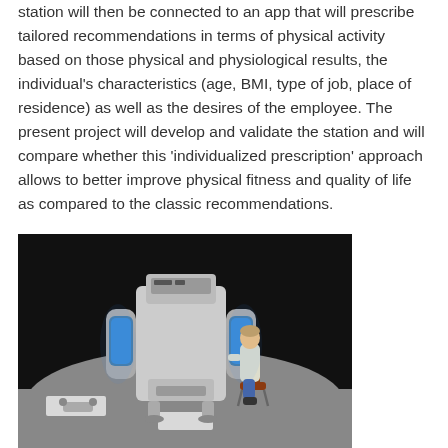station will then be connected to an app that will prescribe tailored recommendations in terms of physical activity based on those physical and physiological results, the individual's characteristics (age, BMI, type of job, place of residence) as well as the desires of the employee. The present project will develop and validate the station and will compare whether this 'individualized prescription' approach allows to better improve physical fitness and quality of life as compared to the classic recommendations.
[Figure (photo): A 3D rendered image of a medical/fitness assessment station — a large robotic machine with blue-lit panels on either side, and a person sitting in a chair interacting with the device. The scene is set on a gray floor with a dark background, with two white rectangular markers on the floor.]